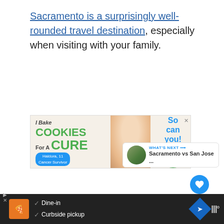Sacramento is a surprisingly well-rounded travel destination, especially when visiting with your family.
[Figure (other): Advertisement banner for Cookies for Kids Cancer: 'I Bake COOKIES For A CURE' featuring a child labeled 'Haldora, 11 Cancer Survivor' and text 'So can you!' with a green Cookies for Kids Cancer logo.]
[Figure (other): Heart/like button (blue circle with white heart icon), like count of 1, and a share button below.]
1
[Figure (other): WHAT'S NEXT arrow: thumbnail image of Sacramento skyline, text 'Sacramento vs San Jose ...']
[Figure (other): Bottom advertisement bar showing a restaurant (Dipyami?), Dine-in and Curbside pickup options, navigation arrow icon, and Waze-style icon.]